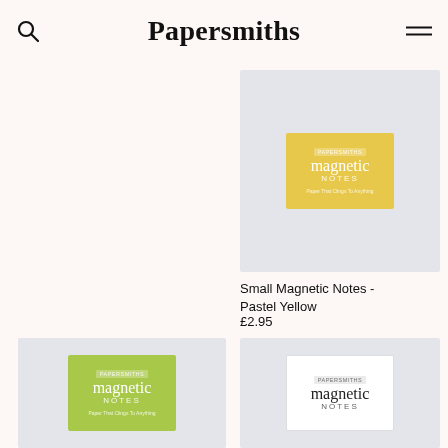Papersmiths
[Figure (photo): Small Magnetic Notes pad in Pastel Yellow color on light grey background]
Small Magnetic Notes - Pastel Yellow
£2.95
[Figure (photo): Small Magnetic Notes pad in green color on light grey background]
[Figure (photo): Small Magnetic Notes pad in white color on light grey background]